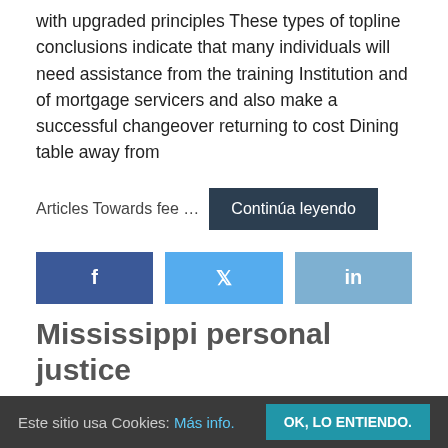with upgraded principles These types of topline conclusions indicate that many individuals will need assistance from the training Institution and of mortgage servicers and also make a successful changeover returning to cost Dining table away from
Articles Towards fee …
Continúa leyendo
[Figure (other): Three social share buttons: Facebook (f), Twitter (bird icon), LinkedIn (in)]
Mississippi personal justice
Este sitio usa Cookies: Más info.   OK, LO ENTIENDO.